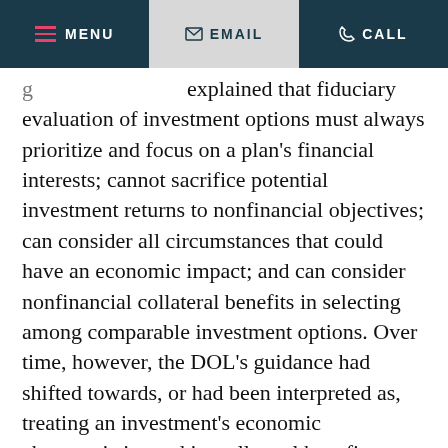MENU  EMAIL  CALL
explained that fiduciary evaluation of investment options must always prioritize and focus on a plan's financial interests; cannot sacrifice potential investment returns to nonfinancial objectives; can consider all circumstances that could have an economic impact; and can consider nonfinancial collateral benefits in selecting among comparable investment options. Over time, however, the DOL's guidance had shifted towards, or had been interpreted as, treating an investment's economic characteristics and its collateral benefits or goals as separate factors pitted against each other...